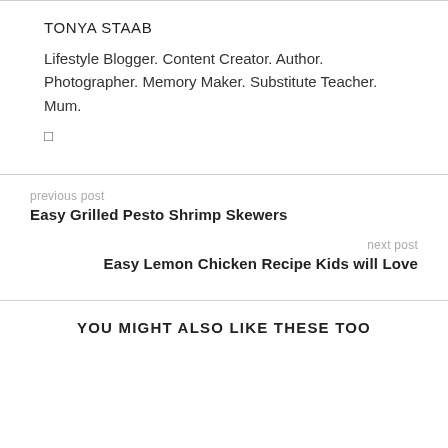TONYA STAAB
Lifestyle Blogger. Content Creator. Author. Photographer. Memory Maker. Substitute Teacher. Mum.
🔲
previous post
Easy Grilled Pesto Shrimp Skewers
next post
Easy Lemon Chicken Recipe Kids will Love
YOU MIGHT ALSO LIKE THESE TOO